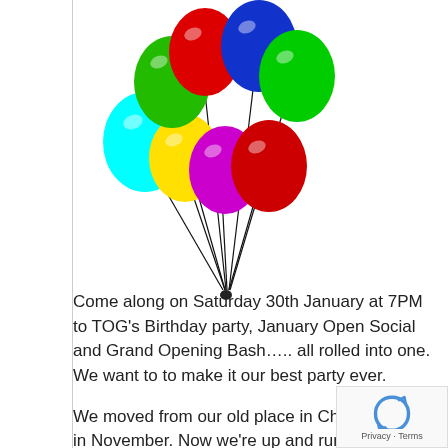[Figure (illustration): A bunch of colorful balloons (green, red, blue, green, cyan, yellow, magenta, red) tied together with black strings, clipart style.]
Come along on Saturday 30th January at 7PM to TOG's Birthday party, January Open Social and Grand Opening Bash….. all rolled into one. We want to to make it our best party ever.

We moved from our old place in Chancery Lane in November. Now we're up and running in our new spa 22 Blackpitts. Come in and catch up with us. We'll gi you a tour of our fantastic new space. Our very own